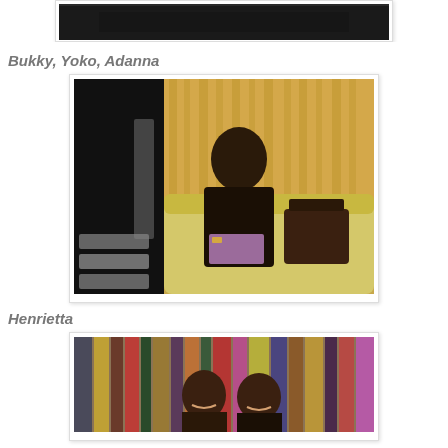[Figure (photo): Partial view of a dark room/floor, cropped at top of page]
Bukky, Yoko, Adanna
[Figure (photo): A woman sitting on a yellow leather sofa, wearing a black top and floral skirt, with a patterned handbag beside her. Shoes visible on the left side.]
Henrietta
[Figure (photo): Two women standing in front of hanging colorful fabrics/clothing items, smiling at camera.]